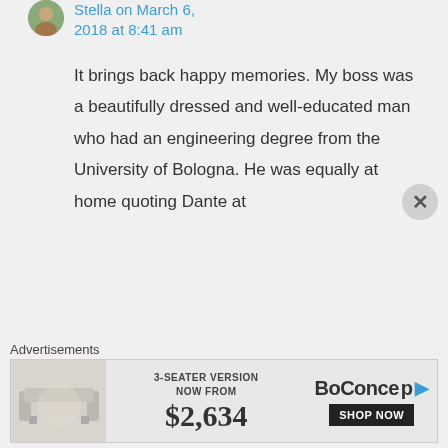Stella on March 6, 2018 at 8:41 am
It brings back happy memories. My boss was a beautifully dressed and well-educated man who had an engineering degree from the University of Bologna. He was equally at home quoting Dante at
Advertisements
[Figure (other): BoConcept furniture advertisement: 3-seater sofa, 3-SEATER VERSION NOW FROM $2,634, SHOP NOW]